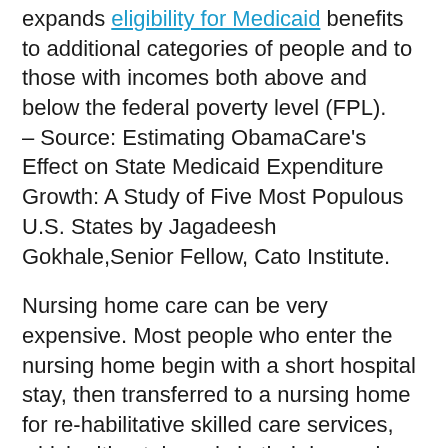expands eligibility for Medicaid benefits to additional categories of people and to those with incomes both above and below the federal poverty level (FPL).
– Source: Estimating ObamaCare's Effect on State Medicaid Expenditure Growth: A Study of Five Most Populous U.S. States by Jagadeesh Gokhale,Senior Fellow, Cato Institute.
Nursing home care can be very expensive. Most people who enter the nursing home begin with a short hospital stay, then transferred to a nursing home for re-habilitative skilled care services, which ultimately ends in their becoming permanent nursing home residents, because they cannot go back home.
MediCARE covers skilled nursing facility care for a limited time after a 3 day qualifying hospital stay for some medical condition. MediCARE part